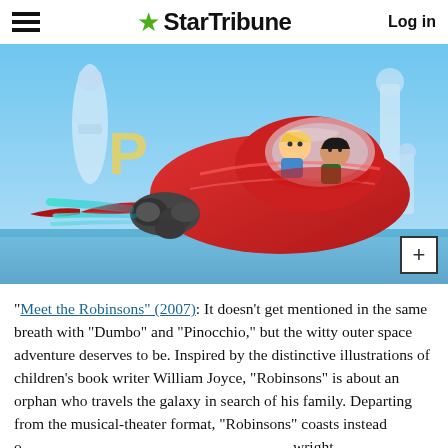StarTribune — Log in
[Figure (illustration): Animated scene from Meet the Robinsons (2007) showing two cartoon children riding in a red futuristic flying vehicle with large engines, set against a colorful futuristic cityscape background with blue sky.]
"Meet the Robinsons" (2007): It doesn't get mentioned in the same breath with "Dumbo" and "Pinocchio," but the witty outer space adventure deserves to be. Inspired by the distinctive illustrations of children's book writer William Joyce, "Robinsons" is about an orphan who travels the galaxy in search of his family. Departing from the musical-theater format, "Robinsons" coasts instead o wright and the .